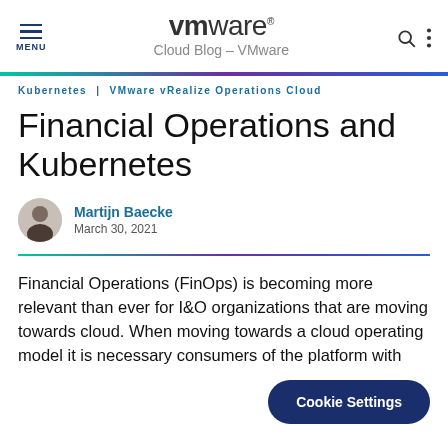MENU | vmware® | Cloud Blog – VMware
Kubernetes | VMware vRealize Operations Cloud
Financial Operations and Kubernetes
Martijn Baecke
March 30, 2021
Financial Operations (FinOps) is becoming more relevant than ever for I&O organizations that are moving towards cloud. When moving towards a cloud operating model it is necessary consumers of the platform with